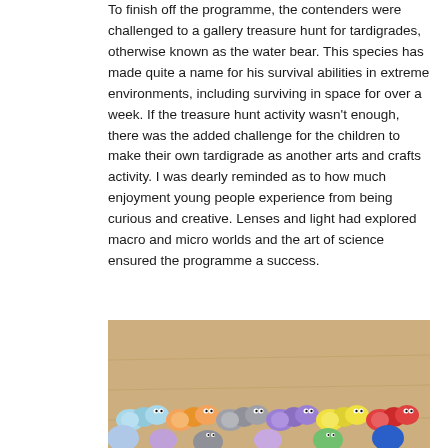To finish off the programme, the contenders were challenged to a gallery treasure hunt for tardigrades, otherwise known as the water bear. This species has made quite a name for his survival abilities in extreme environments, including surviving in space for over a week. If the treasure hunt activity wasn't enough, there was the added challenge for the children to make their own tardigrade as another arts and crafts activity. I was dearly reminded as to how much enjoyment young people experience from being curious and creative. Lenses and light had explored macro and micro worlds and the art of science ensured the programme a success.
[Figure (photo): A row of colorful handmade tardigrade crafts made from pom-poms in various colors (blue, orange, gray, purple, yellow, red, dark blue, green, pink) lined up on a wooden surface, each with small googly eyes.]